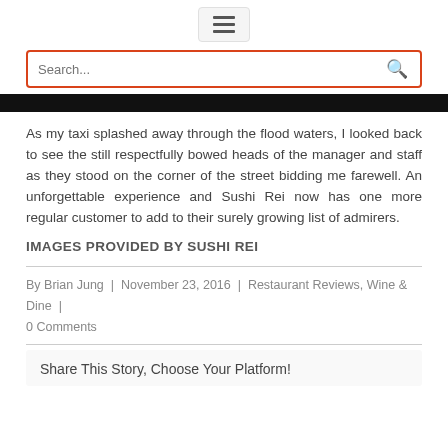☰ (hamburger menu icon)
[Figure (other): Search bar with orange/red border and magnifying glass icon]
[Figure (other): Black horizontal bar]
As my taxi splashed away through the flood waters, I looked back to see the still respectfully bowed heads of the manager and staff as they stood on the corner of the street bidding me farewell. An unforgettable experience and Sushi Rei now has one more regular customer to add to their surely growing list of admirers.
IMAGES PROVIDED BY SUSHI REI
By Brian Jung | November 23, 2016 | Restaurant Reviews, Wine & Dine | 0 Comments
Share This Story, Choose Your Platform!